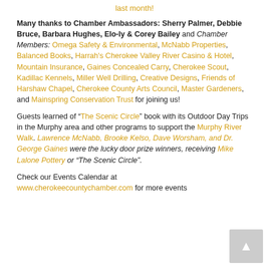last month!
Many thanks to Chamber Ambassadors: Sherry Palmer, Debbie Bruce, Barbara Hughes, Elo-ly & Corey Bailey and Chamber Members: Omega Safety & Environmental, McNabb Properties, Balanced Books, Harrah's Cherokee Valley River Casino & Hotel, Mountain Insurance, Gaines Concealed Carry, Cherokee Scout, Kadillac Kennels, Miller Well Drilling, Creative Designs, Friends of Harshaw Chapel, Cherokee County Arts Council, Master Gardeners, and Mainspring Conservation Trust for joining us!
Guests learned of "The Scenic Circle" book with its Outdoor Day Trips in the Murphy area and other programs to support the Murphy River Walk. Lawrence McNabb, Brooke Kelso, Dave Worsham, and Dr. George Gaines were the lucky door prize winners, receiving Mike Lalone Pottery or "The Scenic Circle".
Check our Events Calendar at www.cherokeecountychamber.com for more events